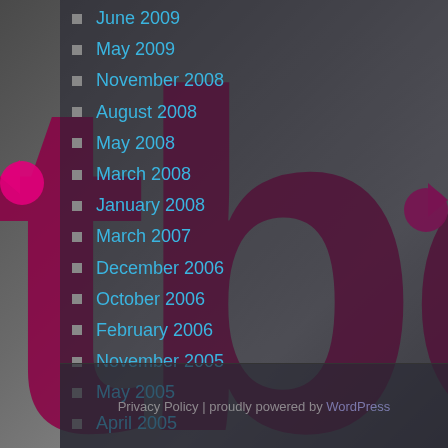[Figure (logo): TDC logo in dark magenta/crimson large letters overlaid on the page background]
June 2009
May 2009
November 2008
August 2008
May 2008
March 2008
January 2008
March 2007
December 2006
October 2006
February 2006
November 2005
May 2005
April 2005
March 2005
Privacy Policy | proudly powered by WordPress